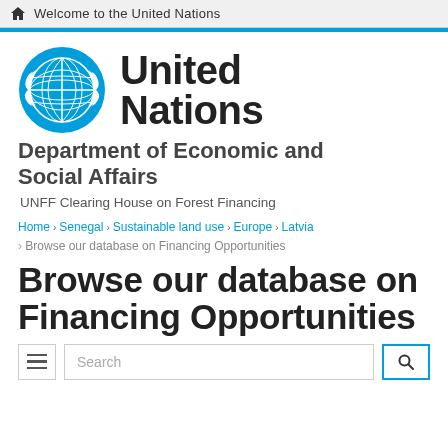Welcome to the United Nations
[Figure (logo): United Nations emblem logo in blue]
United Nations
Department of Economic and Social Affairs
UNFF Clearing House on Forest Financing
Home › Senegal › Sustainable land use › Europe › Latvia › Browse our database on Financing Opportunities
Browse our database on Financing Opportunities